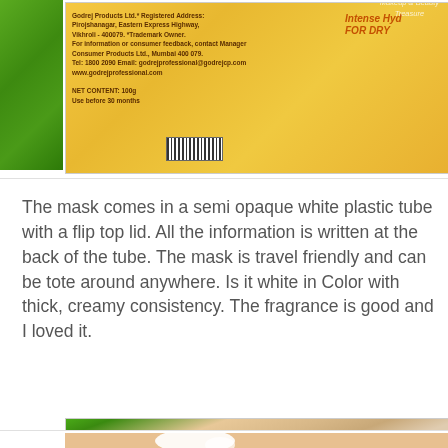[Figure (photo): Photo of the back of a yellow product tube showing ingredient/manufacturer label text including NET CONTENT: 100g, with green grass on the left side and orange 'Intense Hydration FOR DRY' text visible on the right side along with a 'Makeup & Beauty Treasure' watermark]
The mask comes in a semi opaque white plastic tube with a flip top lid. All the information is written at the back of the tube. The mask is travel friendly and can be tote around anywhere. Is it white in Color with thick, creamy consistency. The fragrance is good and I loved it.
[Figure (photo): Close-up photo of a hand/wrist with a dollop of white creamy product swatched on the skin, set against a green blurred background]